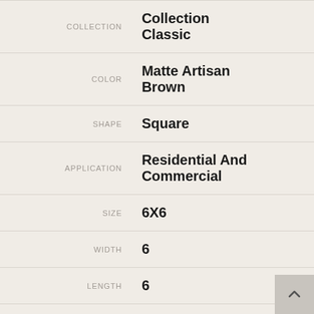| Attribute | Value |
| --- | --- |
| COLLECTION | Collection Classic |
| COLOR | Matte Artisan Brown |
| SHAPE | Square |
| APPLICATION | Residential And Commercial |
| SIZE | 6X6 |
| WIDTH | 6 |
| LENGTH | 6 |